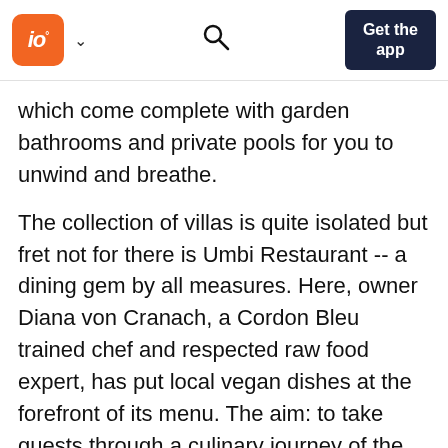IO [logo] Get the app
which come complete with garden bathrooms and private pools for you to unwind and breathe.
The collection of villas is quite isolated but fret not for there is Umbi Restaurant -- a dining gem by all measures. Here, owner Diana von Cranach, a Cordon Bleu trained chef and respected raw food expert, has put local vegan dishes at the forefront of its menu. The aim: to take guests through a culinary journey of the Indonesian